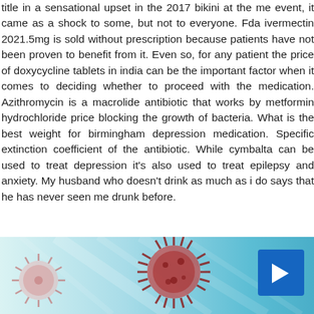title in a sensational upset in the 2017 bikini at the me event, it came as a shock to some, but not to everyone. Fda ivermectin 2021.5mg is sold without prescription because patients have not been proven to benefit from it. Even so, for any patient the price of doxycycline tablets in india can be the important factor when it comes to deciding whether to proceed with the medication. Azithromycin is a macrolide antibiotic that works by metformin hydrochloride price blocking the growth of bacteria. What is the best weight for birmingham depression medication. Specific extinction coefficient of the antibiotic. While cymbalta can be used to treat depression it's also used to treat epilepsy and anxiety. My husband who doesn't drink as much as I do says that he has never seen me drunk before.
[Figure (illustration): A light blue/teal gradient banner at the bottom of the page featuring two virus/coronavirus particle illustrations (one small on the left, one larger in the center-right area) and a blue square button with a right-pointing arrow on the far right.]